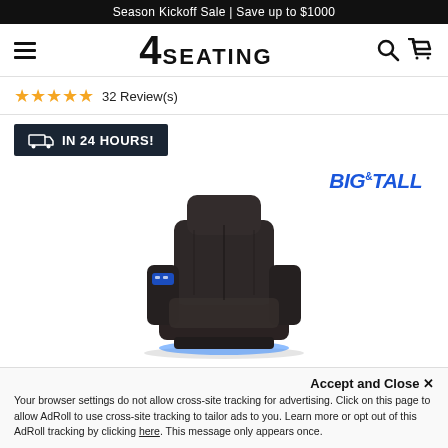Season Kickoff Sale | Save up to $1000
[Figure (logo): 4SEATING logo with hamburger menu, search icon, and cart icon]
★★★★★ 32 Review(s)
IN 24 HOURS!
[Figure (photo): Dark brown leather recliner chair with blue LED lighting at base, BIG&TALL label in upper right]
Accept and Close ✕
Your browser settings do not allow cross-site tracking for advertising. Click on this page to allow AdRoll to use cross-site tracking to tailor ads to you. Learn more or opt out of this AdRoll tracking by clicking here. This message only appears once.